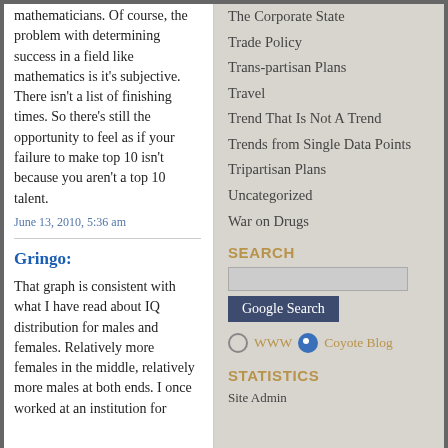mathematicians. Of course, the problem with determining success in a field like mathematics is it's subjective. There isn't a list of finishing times. So there's still the opportunity to feel as if your failure to make top 10 isn't because you aren't a top 10 talent.
June 13, 2010, 5:36 am
Gringo:
That graph is consistent with what I have read about IQ distribution for males and females. Relatively more females in the middle, relatively more males at both ends. I once worked at an institution for
The Corporate State
Trade Policy
Trans-partisan Plans
Travel
Trend That Is Not A Trend
Trends from Single Data Points
Tripartisan Plans
Uncategorized
War on Drugs
SEARCH
Google Search
WWW  Coyote Blog
STATISTICS
Site Admin